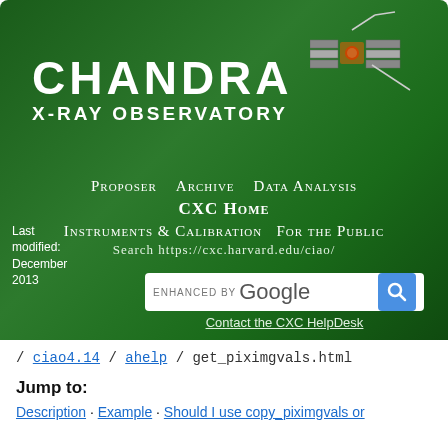[Figure (screenshot): Chandra X-ray Observatory website header banner with green gradient background, satellite illustration, navigation links (Proposer, Archive, Data Analysis, CXC Home, Instruments & Calibration, For the Public), search box with Google enhanced search, and last modified date December 2013]
/ ciao4.14 / ahelp / get_piximgvals.html
Jump to:
Description · Example · Should I use copy_piximgvals or